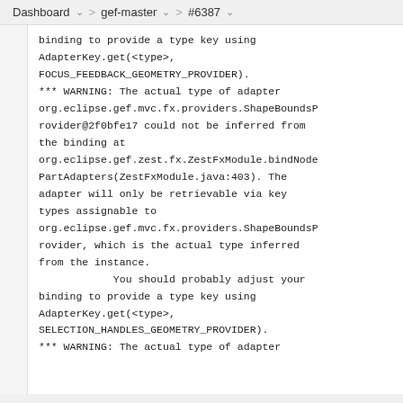Dashboard > gef-master > #6387
binding to provide a type key using AdapterKey.get(<type>, FOCUS_FEEDBACK_GEOMETRY_PROVIDER).
*** WARNING: The actual type of adapter org.eclipse.gef.mvc.fx.providers.ShapeBoundsProvider@2f0bfe17 could not be inferred from the binding at org.eclipse.gef.zest.fx.ZestFxModule.bindNodePartAdapters(ZestFxModule.java:403). The adapter will only be retrievable via key types assignable to org.eclipse.gef.mvc.fx.providers.ShapeBoundsProvider, which is the actual type inferred from the instance.
            You should probably adjust your binding to provide a type key using AdapterKey.get(<type>, SELECTION_HANDLES_GEOMETRY_PROVIDER).
*** WARNING: The actual type of adapter